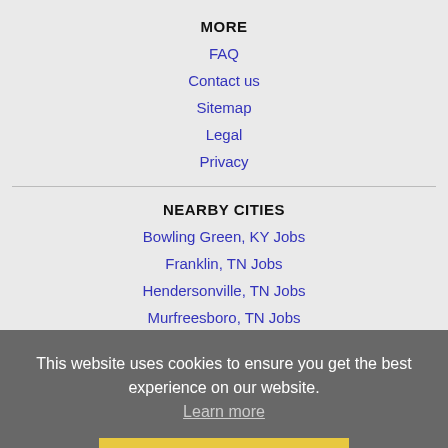MORE
FAQ
Contact us
Sitemap
Legal
Privacy
NEARBY CITIES
Bowling Green, KY Jobs
Franklin, TN Jobs
Hendersonville, TN Jobs
Murfreesboro, TN Jobs
Nashville, TN Jobs
Owensboro, KY Jobs
Smyrna, TN Jobs
This website uses cookies to ensure you get the best experience on our website. Learn more
Got it!